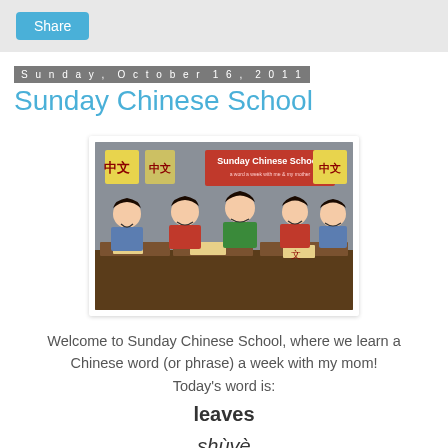Share
Sunday, October 16, 2011
Sunday Chinese School
[Figure (illustration): Illustration of five children sitting at school desks in a Chinese language class. A banner reads 'Sunday Chinese School – a word a week with me & my mother'. Chinese characters (中文) are displayed on yellow signs.]
Welcome to Sunday Chinese School, where we learn a Chinese word (or phrase) a week with my mom!
Today's word is:
leaves
shùyè